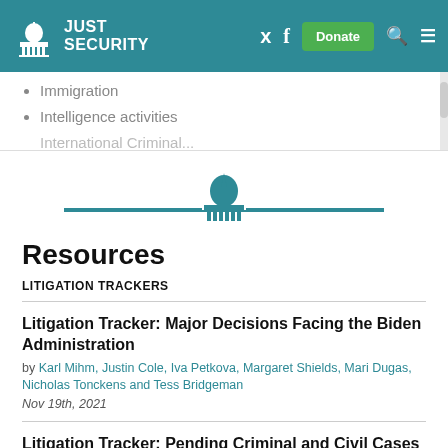JUST SECURITY
Immigration
Intelligence activities
[Figure (logo): Just Security capitol building icon with horizontal line decoration]
Resources
LITIGATION TRACKERS
Litigation Tracker: Major Decisions Facing the Biden Administration
by Karl Mihm, Justin Cole, Iva Petkova, Margaret Shields, Mari Dugas, Nicholas Tonckens and Tess Bridgeman
Nov 19th, 2021
Litigation Tracker: Pending Criminal and Civil Cases Against Donald Trump